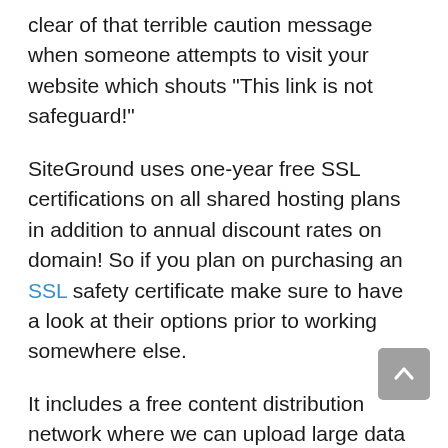clear of that terrible caution message when someone attempts to visit your website which shouts “This link is not safeguard!”
SiteGround uses one-year free SSL certifications on all shared hosting plans in addition to annual discount rates on domain! So if you plan on purchasing an SSL safety certificate make sure to have a look at their options prior to working somewhere else.
It includes a free content distribution network where we can upload large data and also photos, so it is not feasible for any type of 3rd party to obstruct this info.
The benefit of utilizing SiteGround would certainly be the cheap pricing and the all-